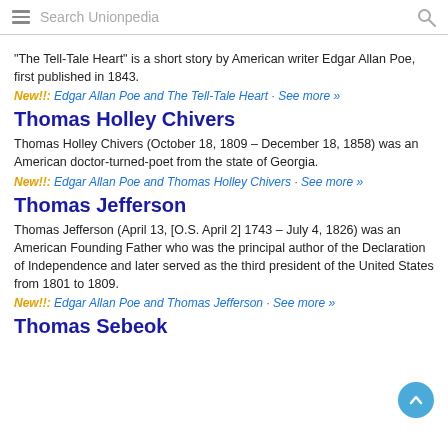Search Unionpedia
"The Tell-Tale Heart" is a short story by American writer Edgar Allan Poe, first published in 1843.
New!!: Edgar Allan Poe and The Tell-Tale Heart · See more »
Thomas Holley Chivers
Thomas Holley Chivers (October 18, 1809 – December 18, 1858) was an American doctor-turned-poet from the state of Georgia.
New!!: Edgar Allan Poe and Thomas Holley Chivers · See more »
Thomas Jefferson
Thomas Jefferson (April 13, [O.S. April 2] 1743 – July 4, 1826) was an American Founding Father who was the principal author of the Declaration of Independence and later served as the third president of the United States from 1801 to 1809.
New!!: Edgar Allan Poe and Thomas Jefferson · See more »
Thomas Sebeok